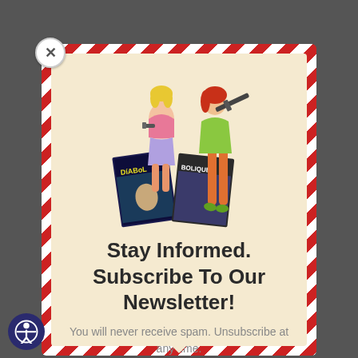[Figure (illustration): Newsletter signup modal popup with a red-and-white diagonal stripe border. Inside is a cream/beige background with a vintage pulp illustration of two women holding weapons, with Diabolique magazine covers in the foreground.]
Stay Informed. Subscribe To Our Newsletter!
You will never receive spam. Unsubscribe at any time.